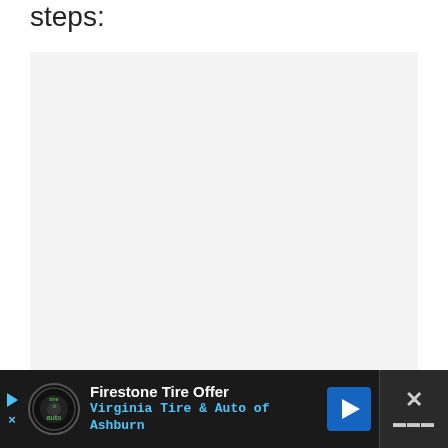steps:
[Figure (other): Large light gray empty rectangular box, placeholder image area]
[Figure (other): Advertisement banner at bottom: Firestone Tire Offer - Virginia Tire & Auto of Ashburn, with logo, navigation arrow icon, and close button]